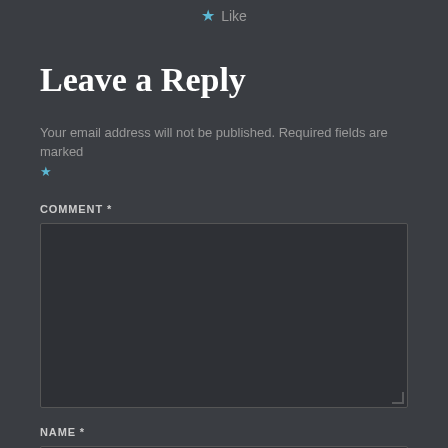★ Like
Leave a Reply
Your email address will not be published. Required fields are marked *
COMMENT *
NAME *
EMAIL *